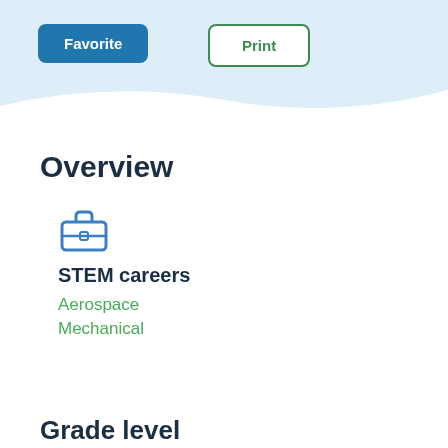[Figure (other): Favorite button (blue filled, rounded rectangle) and Print button (green outlined, rounded rectangle) in a light blue header bar]
Overview
[Figure (illustration): Blue briefcase icon]
STEM careers
Aerospace
Mechanical
Grade level